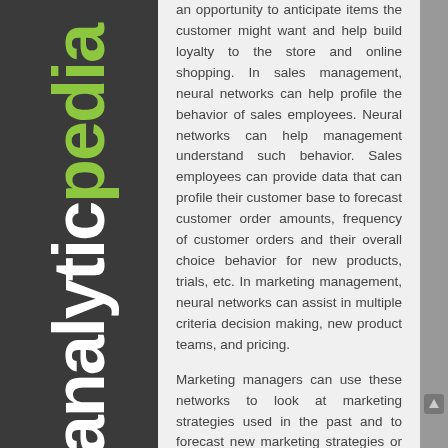[Figure (logo): Analyticpedia logo rendered vertically on dark sidebar, with 'analytic' in white and 'pedia' in green, bold large font rotated 90 degrees]
an opportunity to anticipate items the customer might want and help build loyalty to the store and online shopping. In sales management, neural networks can help profile the behavior of sales employees. Neural networks can help management understand such behavior. Sales employees can provide data that can profile their customer base to forecast customer order amounts, frequency of customer orders and their overall choice behavior for new products, trials, etc. In marketing management, neural networks can assist in multiple criteria decision making, new product teams, and pricing.
Marketing managers can use these networks to look at marketing strategies used in the past and to forecast new marketing strategies or new sales as well as pricing of new products. Managers can use neural networks to find an optimal organizational structure for new product teams and new product development decisions to ensure the success of new products. Also, neural networks can be utilized to predict the risk of joint ventures and alliances